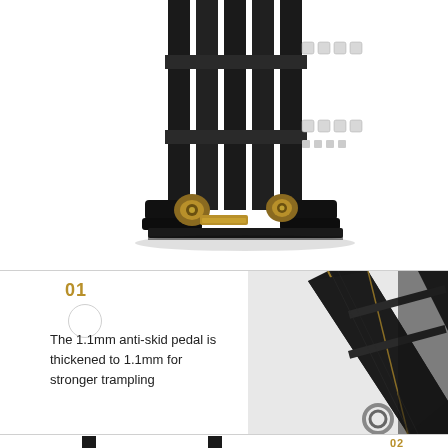[Figure (photo): Close-up photo of the base of a black telescoping/folding ladder showing the feet, locking mechanisms with gold/brass colored components, and side rails with white square locking markers. Viewed from a slightly elevated angle. White background.]
01
The 1.1mm anti-skid pedal is thickened to 1.1mm for stronger trampling
[Figure (photo): Close-up photo of black ladder rungs and diagonal cross-brace structure with gold/amber colored accent stitching or edging, showing the X-shaped folding mechanism and a hinge/lock ring at the bottom. Dark background.]
[Figure (photo): Partial view of the bottom of a black ladder showing two vertical rails/legs against a white background.]
02